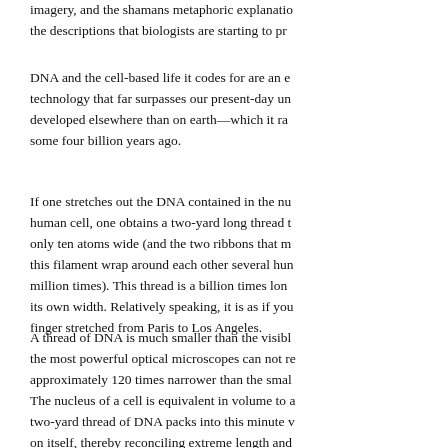imagery, and the shamans metaphoric explanation the descriptions that biologists are starting to pr...
DNA and the cell-based life it codes for are an e... technology that far surpasses our present-day un... developed elsewhere than on earth—which it ra... some four billion years ago.
If one stretches out the DNA contained in the nu... human cell, one obtains a two-yard long thread t... only ten atoms wide (and the two ribbons that m... this filament wrap around each other several hun... million times). This thread is a billion times lon... its own width. Relatively speaking, it is as if you... finger stretched from Paris to Los Angeles.
A thread of DNA is much smaller than the visib... the most powerful optical microscopes can not re... approximately 120 times narrower than the smal...
The nucleus of a cell is equivalent in volume to ... two-yard thread of DNA packs into this minute v... on itself, thereby reconciling extreme length and... mythical serpents.